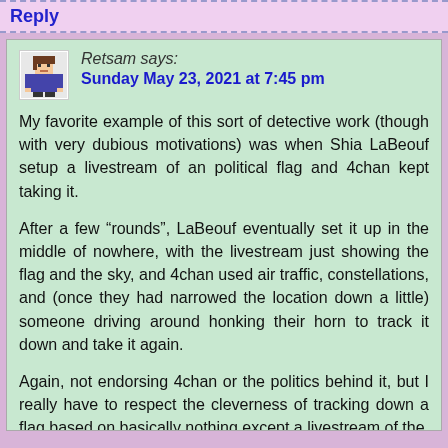Reply
Retsam says:
Sunday May 23, 2021 at 7:45 pm
My favorite example of this sort of detective work (though with very dubious motivations) was when Shia LaBeouf setup a livestream of an political flag and 4chan kept taking it.
After a few “rounds”, LaBeouf eventually set it up in the middle of nowhere, with the livestream just showing the flag and the sky, and 4chan used air traffic, constellations, and (once they had narrowed the location down a little) someone driving around honking their horn to track it down and take it again.
Again, not endorsing 4chan or the politics behind it, but I really have to respect the cleverness of tracking down a flag based on basically nothing except a livestream of the